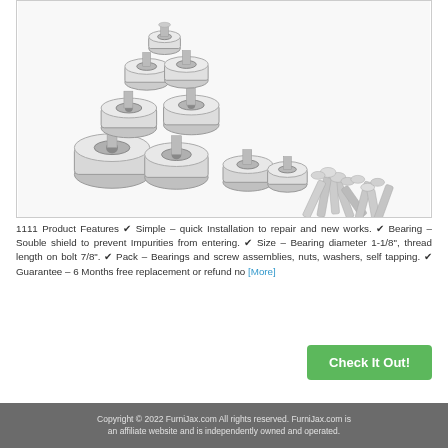[Figure (photo): Product photo showing a collection of ball bearings of various sizes arranged in a pyramid shape, along with screws, nuts, and washers on a white background.]
1111 Product Features ✔ Simple – quick Installation to repair and new works. ✔ Bearing – Souble shield to prevent Impurities from entering. ✔ Size – Bearing diameter 1-1/8", thread length on bolt 7/8". ✔ Pack – Bearings and screw assemblies, nuts, washers, self tapping. ✔ Guarantee – 6 Months free replacement or refund no [More]
Check It Out!
Copyright © 2022 FurniJax.com All rights reserved. FurniJax.com is an affiliate website and is independently owned and operated.